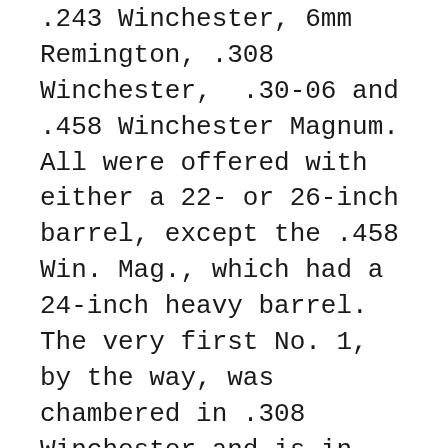.243 Winchester, 6mm Remington, .308 Winchester, .30-06 and .458 Winchester Magnum. All were offered with either a 22- or 26-inch barrel, except the .458 Win. Mag., which had a 24-inch heavy barrel. The very first No. 1, by the way, was chambered in .308 Winchester and is in the private collection of the Ruger family.
Other variations like the International were later added along with many more calibers. The No. 1 has been offered in virtually every popular American caliber, ranging from the .204 Ruger to the .480 Ruger, and also including several European rounds. Some of the rarest chamberings